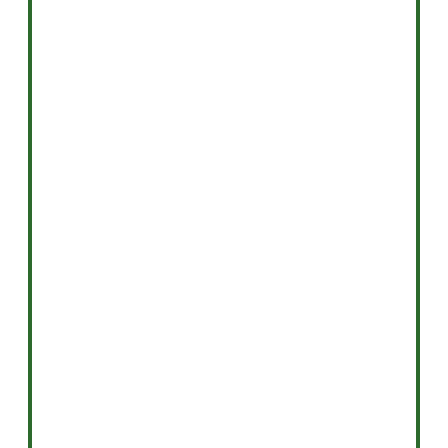is open that might add some interesting changes in radiation pattern when switching from a full